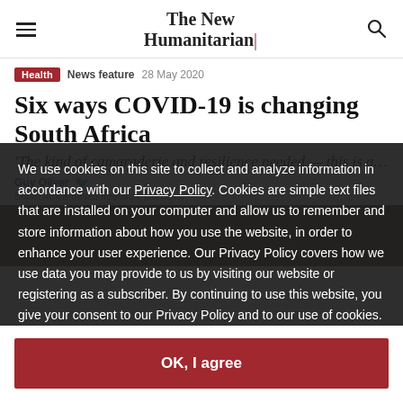The New Humanitarian
Health  News feature  28 May 2020
Six ways COVID-19 is changing South Africa
'The kind of camaraderie and resilience needed — this is a united di...
Guy Oliver
South Africa-based freelance journalist
We use cookies on this site to collect and analyze information in accordance with our Privacy Policy. Cookies are simple text files that are installed on your computer and allow us to remember and store information about how you use the website, in order to enhance your user experience. Our Privacy Policy covers how we use data you may provide to us by visiting our website or registering as a subscriber. By continuing to use this website, you give your consent to our Privacy Policy and to our use of cookies.
OK, I agree